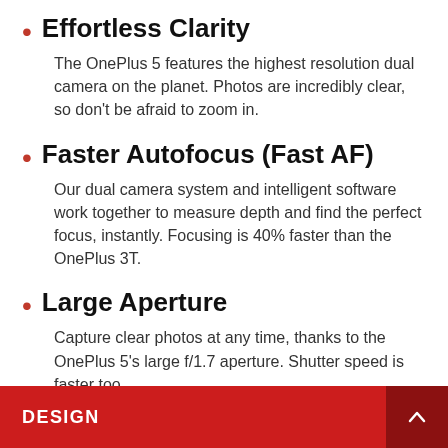Effortless Clarity
The OnePlus 5 features the highest resolution dual camera on the planet. Photos are incredibly clear, so don't be afraid to zoom in.
Faster Autofocus (Fast AF)
Our dual camera system and intelligent software work together to measure depth and find the perfect focus, instantly. Focusing is 40% faster than the OnePlus 3T.
Large Aperture
Capture clear photos at any time, thanks to the OnePlus 5's large f/1.7 aperture. Shutter speed is faster too.
DESIGN